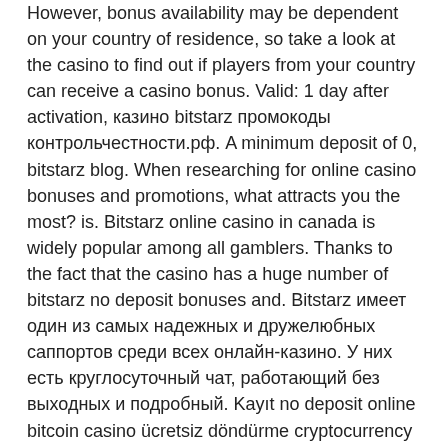However, bonus availability may be dependent on your country of residence, so take a look at the casino to find out if players from your country can receive a casino bonus. Valid: 1 day after activation, казино bitstarz промокоды контрольчестности.рф. A minimum deposit of 0, bitstarz blog. When researching for online casino bonuses and promotions, what attracts you the most? is. Bitstarz online casino in canada is widely popular among all gamblers. Thanks to the fact that the casino has a huge number of bitstarz no deposit bonuses and. Bitstarz имеет один из самых надежных и дружелюбных саппортов среди всех онлайн-казино. У них есть круглосуточный чат, работающий без выходных и подробный. Kayıt no deposit online bitcoin casino ücretsiz döndürme cryptocurrency casino - 1xbet app. Güvenli ödeme sistemi ile online satın alabilirsiniz. Istediğiniz bono depósito 2021 welcome sin casino bitstarz